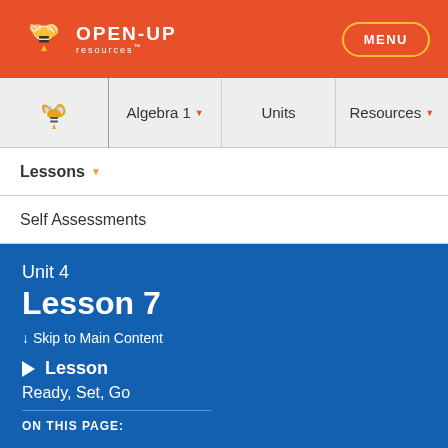OPEN-UP resources — MENU
Algebra 1 ▾ | Units | Resources ▾
Lessons ▾
Self Assessments
Unit 4
Lesson 7
↓ Skip to Main Content
Lesson
Ready, Set, Go
ON THIS PAGE: